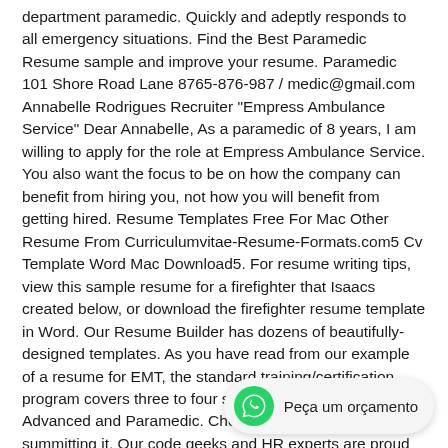department paramedic. Quickly and adeptly responds to all emergency situations. Find the Best Paramedic Resume sample and improve your resume. Paramedic 101 Shore Road Lane 8765-876-987 / medic@gmail.com Annabelle Rodrigues Recruiter "Empress Ambulance Service" Dear Annabelle, As a paramedic of 8 years, I am willing to apply for the role at Empress Ambulance Service. You also want the focus to be on how the company can benefit from hiring you, not how you will benefit from getting hired. Resume Templates Free For Mac Other Resume From Curriculumvitae-Resume-Formats.com5 Cv Template Word Mac Download5. For resume writing tips, view this sample resume for a firefighter that Isaacs created below, or download the firefighter resume template in Word. Our Resume Builder has dozens of beautifully-designed templates. As you have read from our example of a resume for EMT, the standard training/certification program covers three to four stages: Basic, Intermediate, Advanced and Paramedic. Check your spelling before summitting it. Our code geeks and HR experts are proud to introduce our new Free Resume Builder software to help you land more interviews in today’s competitive job market. WorkBloom’s resume templates all come with matching cover letters. LiveCareer has its database. Provided timely patient service, life support, and
[Figure (other): WhatsApp chat button with green WhatsApp icon and text 'Peça um orçamento' on a light gray rounded pill background]